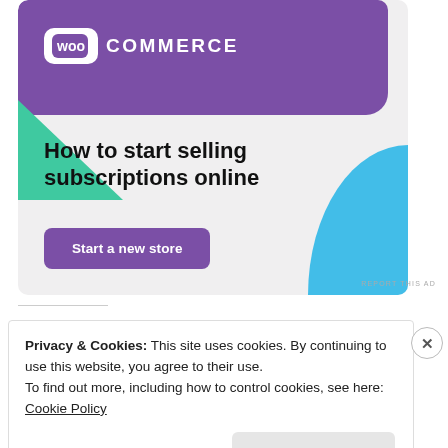[Figure (illustration): WooCommerce advertisement banner with purple header containing WooCommerce logo, green triangle shape on left, blue curved shape on right, headline text 'How to start selling subscriptions online' and purple 'Start a new store' button on light gray background]
REPORT THIS AD
Privacy & Cookies: This site uses cookies. By continuing to use this website, you agree to their use.
To find out more, including how to control cookies, see here: Cookie Policy